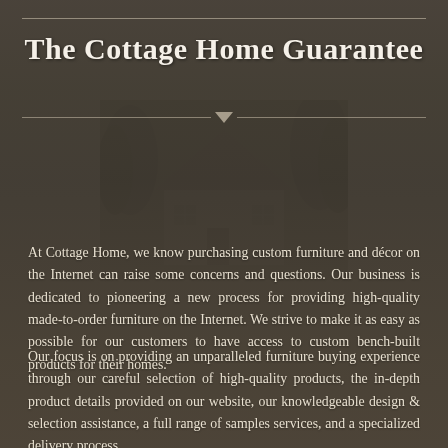The Cottage Home Guarantee
At Cottage Home, we know purchasing custom furniture and décor on the Internet can raise some concerns and questions. Our business is dedicated to pioneering a new process for providing high-quality made-to-order furniture on the Internet. We strive to make it as easy as possible for our customers to have access to custom bench-built products for their homes.
Our focus is on providing an unparalleled furniture buying experience through our careful selection of high-quality products, the in-depth product details provided on our website, our knowledgeable design & selection assistance, a full range of samples services, and a specialized delivery process.